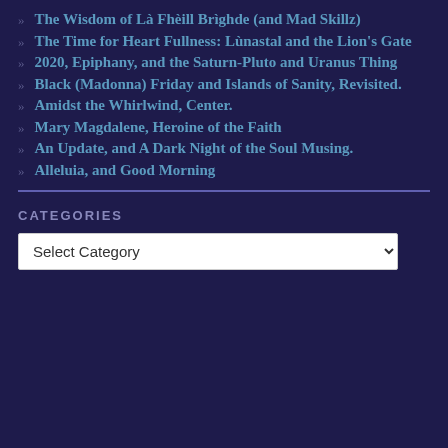The Wisdom of Là Fhèill Brìghde (and Mad Skillz)
The Time for Heart Fullness: Lùnastal and the Lion's Gate
2020, Epiphany, and the Saturn-Pluto and Uranus Thing
Black (Madonna) Friday and Islands of Sanity, Revisited.
Amidst the Whirlwind, Center.
Mary Magdalene, Heroine of the Faith
An Update, and A Dark Night of the Soul Musing.
Alleluia, and Good Morning
CATEGORIES
Select Category